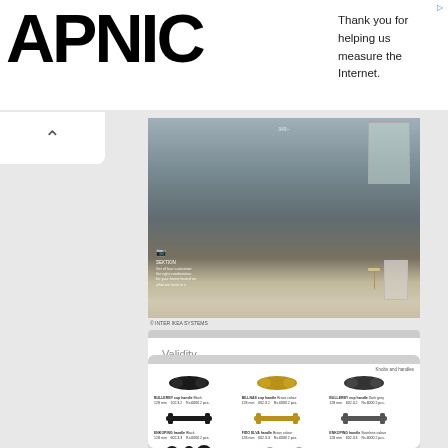[Figure (logo): APNIC logo in large bold black text on white banner]
Thank you for helping us measure the Internet.
[Figure (photo): Kitchen interior with gray cabinetry, wooden stool, and radiator near window]
© INTER IKEA SYSTEMS
Validity
Not specified
[Figure (logo): IKEA logo — yellow text on blue oval background]
Knobs and handles
[Figure (photo): Product catalog page showing various cabinet handles and knobs in black, gold, and gray finishes]